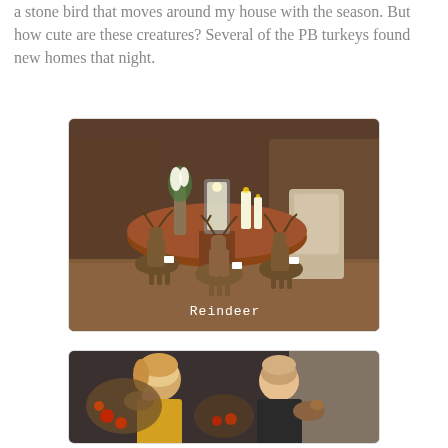a stone bird that moves around my house with the season. But how cute are these creatures? Several of the PB turkeys found new homes that night.
[Figure (photo): Photo of wicker/twig reindeer figurines on a round wooden dining table with candles and white flowers. Store interior setting. White label 'Reindeer' overlaid in monospace text at bottom.]
[Figure (photo): Photo of two women at an event holding autumn/harvest decorative items including twig animals and red apples.]